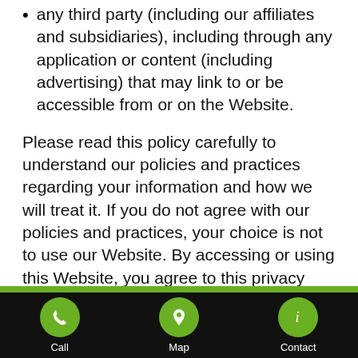any third party (including our affiliates and subsidiaries), including through any application or content (including advertising) that may link to or be accessible from or on the Website.
Please read this policy carefully to understand our policies and practices regarding your information and how we will treat it. If you do not agree with our policies and practices, your choice is not to use our Website. By accessing or using this Website, you agree to this privacy policy. This policy may change from time to time. Your continued use of this Website after we make changes is deemed to be
Call | Map | Contact